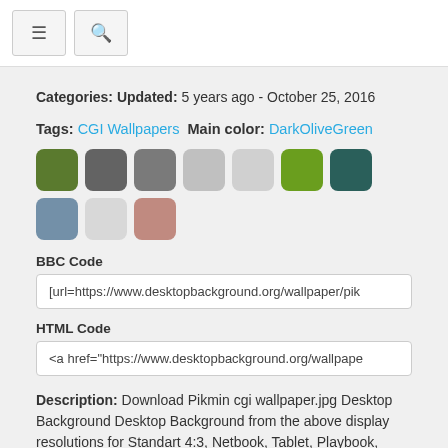≡  🔍
Categories: Updated: 5 years ago - October 25, 2016
Tags: CGI Wallpapers  Main color: DarkOliveGreen
[Figure (other): Ten color swatches: dark olive green, dark gray, medium gray, light gray, pale gray, olive green, dark teal, slate blue, very light gray, dusty rose]
BBC Code
[url=https://www.desktopbackground.org/wallpaper/pik
HTML Code
<a href="https://www.desktopbackground.org/wallpape
Description: Download Pikmin cgi wallpaper.jpg Desktop Background Desktop Background from the above display resolutions for Standart 4:3, Netbook, Tablet, Playbook,